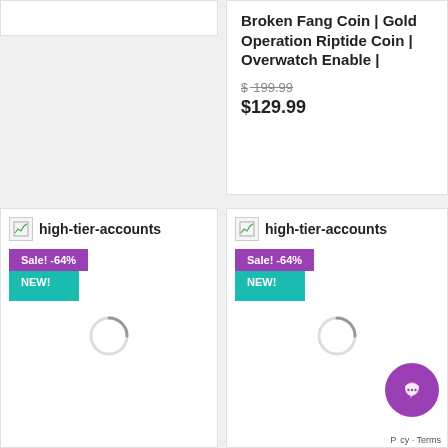[Figure (screenshot): Top-left placeholder card, white rectangle with border]
Broken Fang Coin | Gold Operation Riptide Coin | Overwatch Enable |
$ 199.99 (strikethrough original price)
$129.99 (sale price)
[Figure (screenshot): Bottom-left product card with high-tier-accounts label, Sale -64% badge, NEW! badge, and loading spinner]
[Figure (screenshot): Bottom-right product card with high-tier-accounts label, Sale -64% badge, NEW! badge, loading spinner, and chat support button]